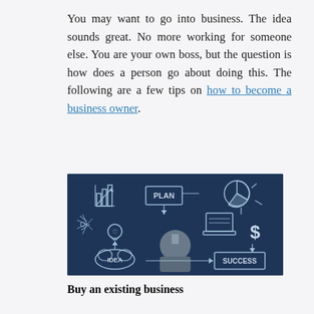You may want to go into business. The idea sounds great. No more working for someone else. You are your own boss, but the question is how does a person go about doing this. The following are a few tips on how to become a business owner.
[Figure (illustration): A person viewed from behind looking at a chalkboard with business planning concepts illustrated: bar chart, pie chart, 'PLAN' box with arrows, laptop, dollar sign, light bulb, clouds with 'IDEA', 'SUCCESS' box, and various arrows connecting elements.]
Buy an existing business